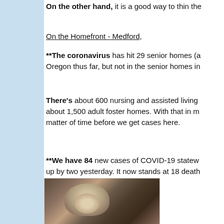On the other hand, it is a good way to thin the...
On the Homefront - Medford,
**The coronavirus has hit 29 senior homes (a... Oregon thus far, but not in the senior homes in...
There's about 600 nursing and assisted living ... about 1,500 adult foster homes. With that in m... matter of time before we get cases here.
**We have 84 new cases of COVID-19 statew... up by two yesterday. It now stands at 18 death...
[Figure (photo): Photo of cats resting on a surface, likely indoors]
**A... Sta...